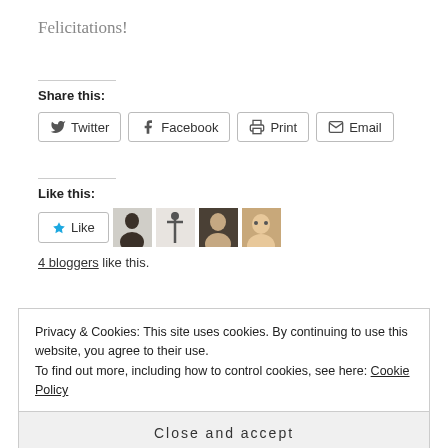Felicitations!
Share this:
Twitter  Facebook  Print  Email
Like this:
4 bloggers like this.
Privacy & Cookies: This site uses cookies. By continuing to use this website, you agree to their use. To find out more, including how to control cookies, see here: Cookie Policy
Close and accept